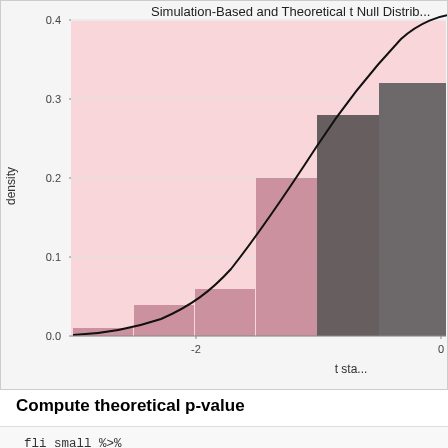[Figure (histogram): Overlapping histogram with pink bars (simulation-based) and dark gray bars (theoretical), plus a black theoretical t-distribution curve. X-axis shows t statistic values around -2 and 0. Y-axis shows density from 0.0 to 0.4.]
Compute theoretical p-value
fli_small %>%
  t.test(formula = arr_delay ~ half_year,